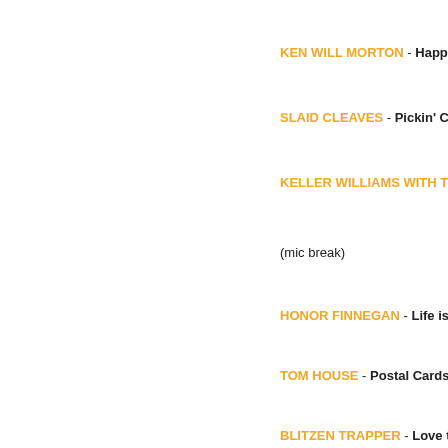KEN WILL MORTON - Happy Enough
SLAID CLEAVES - Pickin' California (B...
KELLER WILLIAMS WITH THE TRAVE...
(mic break)
HONOR FINNEGAN -  Life is Short  (Th...
TOM HOUSE - Postal Cards  (Winding...
BLITZEN TRAPPER - Love the Way Yo...
JALAPENO COMPADRES - I Wasn't Lo...
THE BAD COMPANIONS - I Liked Hank...
(mic break)
KELLER WILLIAMS WITH THE TRAVE...
(July 13th, 2012)